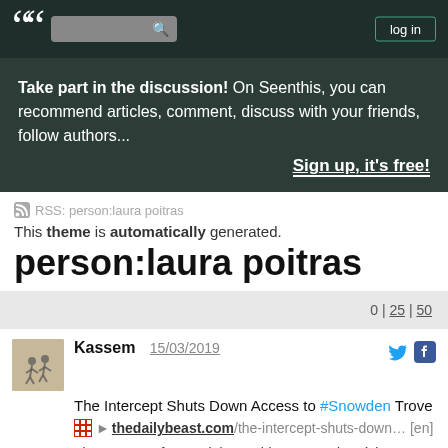log in
Take part in the discussion! On Seenthis, you can recommend articles, comment, discuss with your friends, follow authors...
Sign up, it's free!
RSS: person:laura poitras
This theme is automatically generated.
person:laura poitras
0 | 25 | 50
Kassem   15/03/2019
The Intercept Shuts Down Access to #Snowden Trove
thedailybeast.com/the-intercept-shuts-down… [en]
The Intercept fermerait les archives Snowden, à la grande colère de Laura Poitras - Next INpact